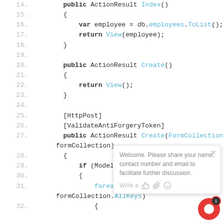[Figure (screenshot): Code editor screenshot showing C# MVC controller code, lines 14-32, with a chat popup overlay in the bottom right corner.]